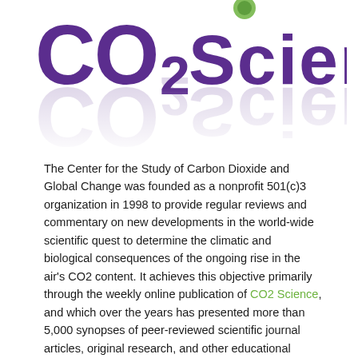[Figure (logo): CO2 Science logo with large purple bold text 'CO2 SCIENCE' with subscript 2, and a reflected mirror image below, plus a small green leaf/globe icon above]
The Center for the Study of Carbon Dioxide and Global Change was founded as a nonprofit 501(c)3 organization in 1998 to provide regular reviews and commentary on new developments in the world-wide scientific quest to determine the climatic and biological consequences of the ongoing rise in the air's CO2 content. It achieves this objective primarily through the weekly online publication of CO2 Science, and which over the years has presented more than 5,000 synopses of peer-reviewed scientific journal articles, original research, and other educational materials germane to the debate over carbon dioxide and global change.
The three principals of the Center's Management Team each hold Ph.D. degrees in fields that are central to the topic of carbon dioxide and global change. Together